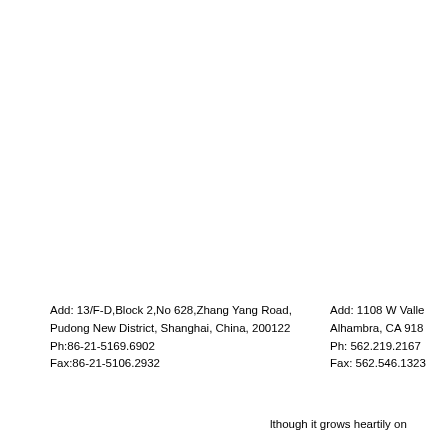Add: 13/F-D,Block 2,No 628,Zhang Yang Road, Pudong New District, Shanghai, China, 200122 Ph:86-21-5169.6902 Fax:86-21-5106.2932
Add: 1108 W Valle Alhambra, CA 918 Ph: 562.219.2167 Fax: 562.546.1323
lthough it grows heartily on